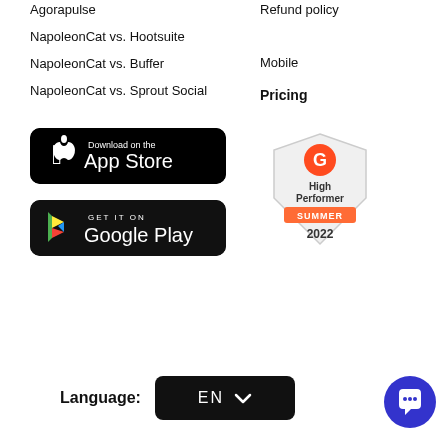Agorapulse
NapoleonCat vs. Hootsuite
NapoleonCat vs. Buffer
NapoleonCat vs. Sprout Social
Refund policy
Mobile
Pricing
[Figure (other): Download on the App Store button (black rounded rectangle with Apple logo)]
[Figure (other): Get it on Google Play button (black rounded rectangle with Google Play logo)]
[Figure (other): G2 High Performer Summer 2022 badge (shield shape with G2 logo in red/orange, text: High Performer, SUMMER, 2022)]
Language: EN
[Figure (other): Chat/support button (blue circle with white chat icon)]